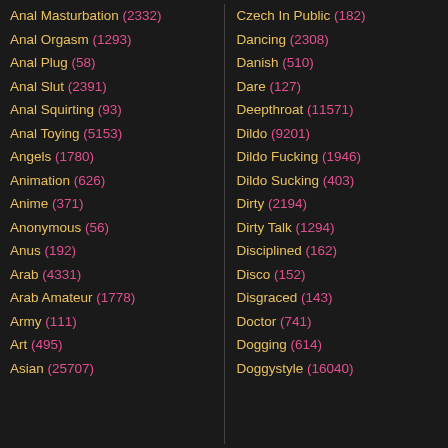Anal Masturbation (2332)
Anal Orgasm (1293)
Anal Plug (58)
Anal Slut (2391)
Anal Squirting (93)
Anal Toying (5153)
Angels (1780)
Animation (626)
Anime (371)
Anonymous (56)
Anus (192)
Arab (4331)
Arab Amateur (1778)
Army (111)
Art (495)
Asian (25707)
Czech In Public (182)
Dancing (2308)
Danish (510)
Dare (127)
Deepthroat (11571)
Dildo (9201)
Dildo Fucking (1946)
Dildo Sucking (403)
Dirty (2194)
Dirty Talk (1294)
Disciplined (162)
Disco (152)
Disgraced (143)
Doctor (741)
Dogging (614)
Doggystyle (16040)